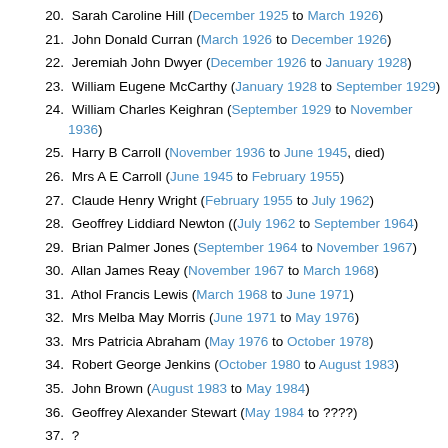20. Sarah Caroline Hill (December 1925 to March 1926)
21. John Donald Curran (March 1926 to December 1926)
22. Jeremiah John Dwyer (December 1926 to January 1928)
23. William Eugene McCarthy (January 1928 to September 1929)
24. William Charles Keighran (September 1929 to November 1936)
25. Harry B Carroll (November 1936 to June 1945, died)
26. Mrs A E Carroll (June 1945 to February 1955)
27. Claude Henry Wright (February 1955 to July 1962)
28. Geoffrey Liddiard Newton ((July 1962 to September 1964)
29. Brian Palmer Jones (September 1964 to November 1967)
30. Allan James Reay (November 1967 to March 1968)
31. Athol Francis Lewis (March 1968 to June 1971)
32. Mrs Melba May Morris (June 1971 to May 1976)
33. Mrs Patricia Abraham (May 1976 to October 1978)
34. Robert George Jenkins (October 1980 to August 1983)
35. John Brown (August 1983 to May 1984)
36. Geoffrey Alexander Stewart (May 1984 to ????)
37. ?
Marquis of Midlothian (1885-1892)